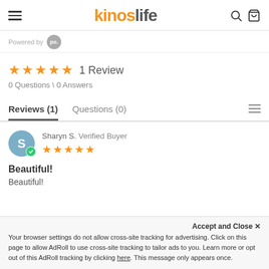kitroslife
Powered by
★★★★★  1 Review
0 Questions \ 0 Answers
Reviews (1)   Questions (0)
Sharyn S.  Verified Buyer
★★★★★
Beautiful!
Beautiful!
Accept and Close ×
Your browser settings do not allow cross-site tracking for advertising. Click on this page to allow AdRoll to use cross-site tracking to tailor ads to you. Learn more or opt out of this AdRoll tracking by clicking here. This message only appears once.